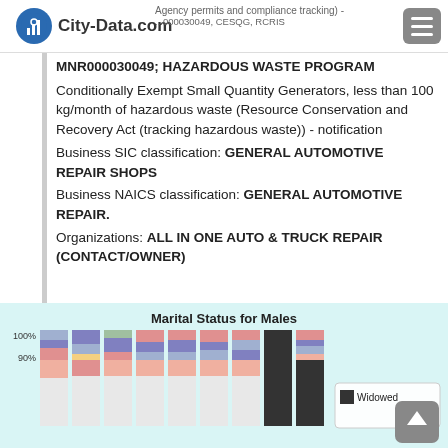City-Data.com | Agency permits and compliance tracking) - MNR000030049, CESQG, RCRIS
MNR000030049; HAZARDOUS WASTE PROGRAM
Conditionally Exempt Small Quantity Generators, less than 100 kg/month of hazardous waste (Resource Conservation and Recovery Act (tracking hazardous waste)) - notification
Business SIC classification: GENERAL AUTOMOTIVE REPAIR SHOPS
Business NAICS classification: GENERAL AUTOMOTIVE REPAIR.
Organizations: ALL IN ONE AUTO & TRUCK REPAIR (CONTACT/OWNER)
[Figure (stacked-bar-chart): Stacked bar chart showing marital status for males, y-axis from 90% to 100% visible, with colored segments. Legend shows Widowed category visible.]